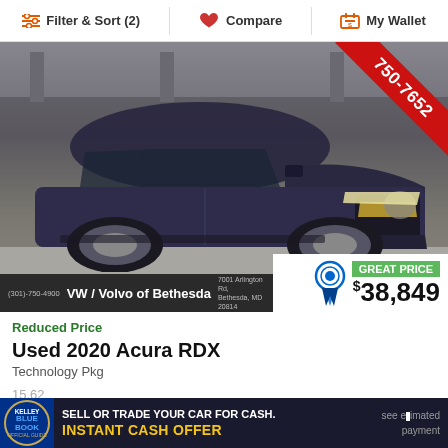Filter & Sort (2)   Compare   My Wallet
[Figure (photo): Dark purple/navy 2020 Acura RDX SUV parked in a parking garage, front three-quarter view. Red ribbon banner in top-right corner reads '750-7652'. Dealer banner at bottom reads '(301)-750-4900  VW / Volvo of Bethesda  7001 Arlington Rd, Bethesda, MD 20814'. Great Price badge with $38,849 price shown in bottom-right overlay.]
Reduced Price
$38,849
Used 2020 Acura RDX
Technology Pkg
15,62...
[Figure (infographic): Kelley Blue Book ad banner: 'SELL OR TRADE YOUR CAR FOR CASH. INSTANT CASH OFFER']
see estimated payment